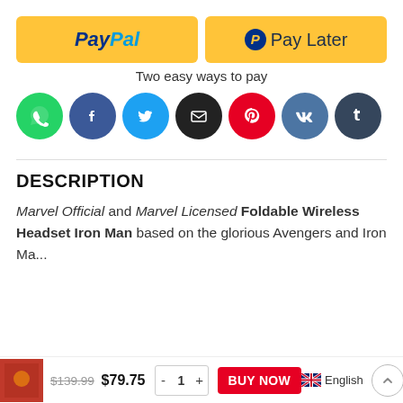[Figure (other): PayPal and Pay Later yellow buttons side by side]
Two easy ways to pay
[Figure (other): Row of social share icons: WhatsApp, Facebook, Twitter, Email, Pinterest, VK, Tumblr]
DESCRIPTION
Marvel Official and Marvel Licensed Foldable Wireless Headset Iron Man based on the glorious Avengers and Iron Ma...